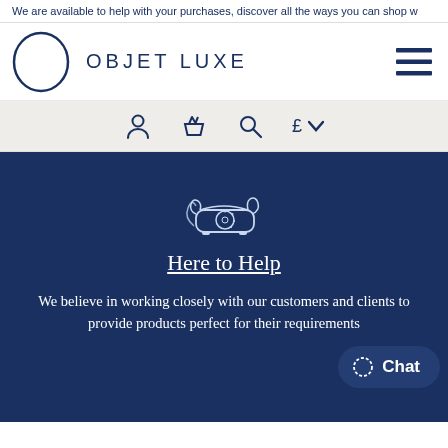We are available to help with your purchases, discover all the ways you can shop w
[Figure (logo): Objet Luxe logo: circle outline with text OBJET LUXE and hamburger menu icon]
[Figure (infographic): Navigation icon bar with user, basket, search, currency (£) and dropdown icons on light grey background]
[Figure (illustration): Vintage telephone illustration in white/light blue on dark navy background]
Here to Help
We believe in working closely with our customers and clients to provide products perfect for their requirements